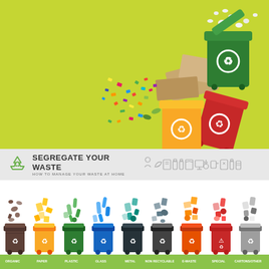[Figure (photo): Photo of colorful recycling bins (green, red, yellow) tipped over on a lime green background with various recyclable materials scattered around]
[Figure (infographic): Banner with recycling icon, title SEGREGATE YOUR WASTE, subtitle HOW TO MANAGE YOUR WASTE AT HOME, with small icons of various waste categories on the right]
[Figure (infographic): Infographic showing 9 colored recycling bins labeled ORGANIC, PAPER, PLASTIC, GLASS, METAL, NON RECYCLABLE, E-WASTE, SPECIAL, CARTONS/OTHER, each with illustrated waste items falling into them, on a white background with a green footer bar]